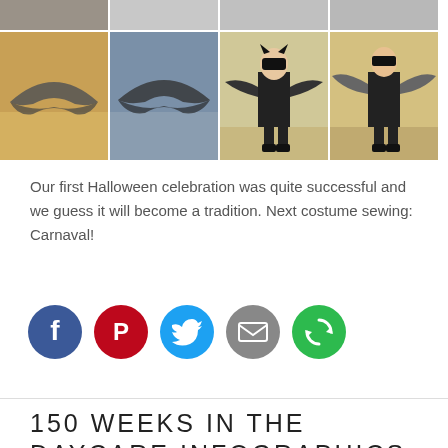[Figure (photo): Grid of 8 photos showing Halloween bat costume construction and children wearing bat costumes. Top row shows partial/cropped images of fabric and costume pieces. Bottom row shows brown bat wings on floor, blue/grey bat wings on floor, child in full black bat costume with mask, and child spreading bat wings.]
Our first Halloween celebration was quite successful and we guess it will become a tradition. Next costume sewing: Carnaval!
[Figure (infographic): Social media share buttons: Facebook (blue circle with F), Pinterest (red circle with P), Twitter (blue circle with bird), Email (grey circle with envelope), More/Other sharing (green circle with circular arrow icon)]
150 WEEKS IN THE DAYCARE INFOGRAPHICS